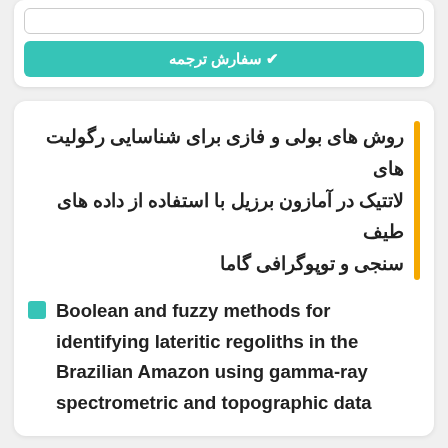[Figure (screenshot): Search input box at the top of a card]
✔ سفارش ترجمه
روش های بولی و فازی برای شناسایی رگولیت های لاتتیک در آمازون برزیل با استفاده از داده های طیف سنجی و توپوگرافی گاما
Boolean and fuzzy methods for identifying lateritic regoliths in the Brazilian Amazon using gamma-ray spectrometric and topographic data